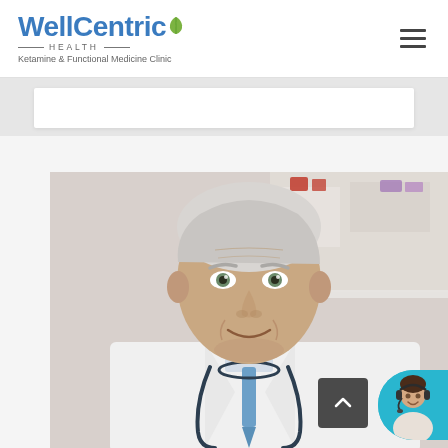[Figure (logo): WellCentric Health logo with blue text and green leaf, tagline: Ketamine & Functional Medicine Clinic]
[Figure (photo): Smiling older male doctor with white/gray hair wearing a white coat and stethoscope, in a medical office setting]
[Figure (other): Dark gray scroll-to-top button with upward chevron arrow]
[Figure (other): Circular cyan chat avatar with a young woman wearing a headset]